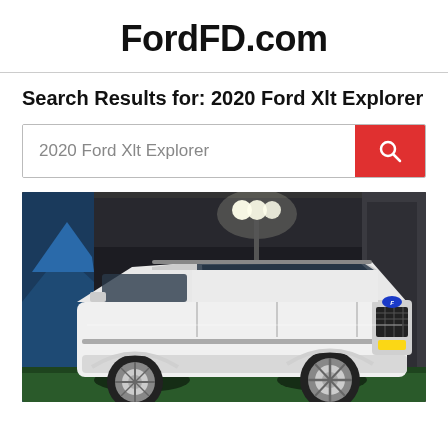FordFD.com
Search Results for: 2020 Ford Xlt Explorer
2020 Ford Xlt Explorer
[Figure (photo): White 2020 Ford Explorer XLT SUV photographed indoors under bright overhead lights, front three-quarter view, parked on green surface with a painted rock mural visible in the background.]